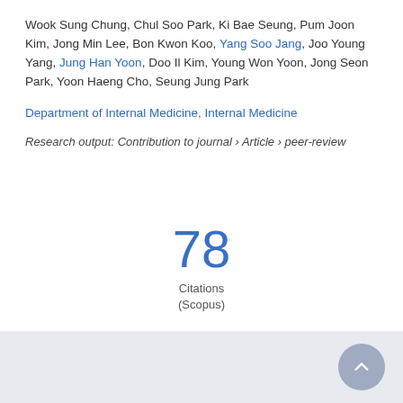Wook Sung Chung, Chul Soo Park, Ki Bae Seung, Pum Joon Kim, Jong Min Lee, Bon Kwon Koo, Yang Soo Jang, Joo Young Yang, Jung Han Yoon, Doo Il Kim, Young Won Yoon, Jong Seon Park, Yoon Haeng Cho, Seung Jung Park
Department of Internal Medicine, Internal Medicine
Research output: Contribution to journal › Article › peer-review
78 Citations (Scopus)